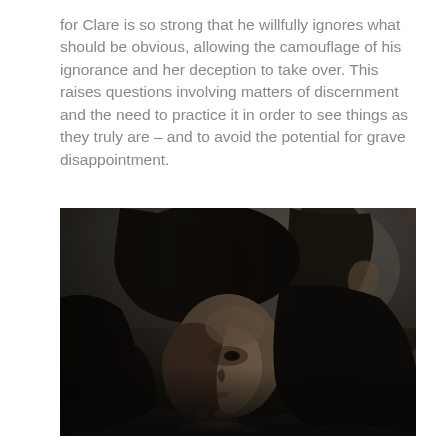for Clare is so strong that he willfully ignores what should be obvious, allowing the camouflage of his ignorance and her deception to take over. This raises questions involving matters of discernment and the need to practice it in order to see things as they truly are – and to avoid the potential for grave disappointment.
[Figure (photo): Black and white photograph showing two people in a contemplative, downward-looking pose. The foreground subject is a young woman with dark hair looking downward, lit from the side. A second figure is partially visible in the background, also looking down.]